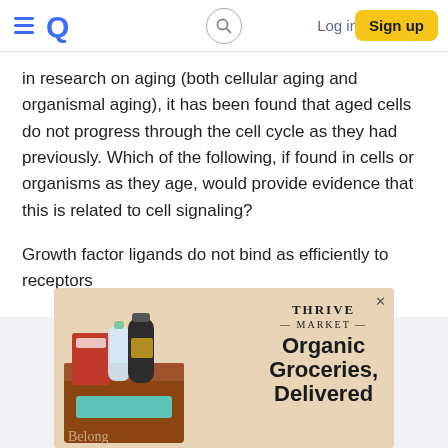EQ | Log in | Sign up
in research on aging (both cellular aging and organismal aging), it has been found that aged cells do not progress through the cell cycle as they had previously. Which of the following, if found in cells or organisms as they age, would provide evidence that this is related to cell signaling?
Growth factor ligands do not bind as efficiently to receptors
[Figure (screenshot): Advertisement for Thrive Market — Organic Groceries, Delivered. Shows grocery items in a box with text 'Belong'.]